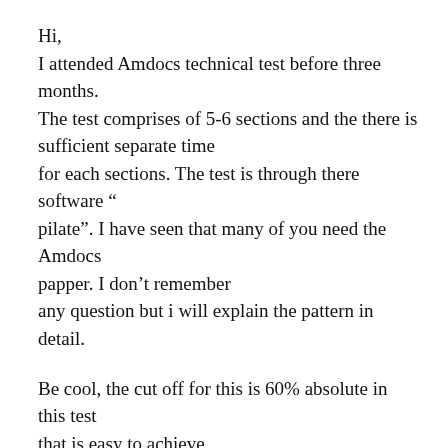Hi,
I attended Amdocs technical test before three months. The test comprises of 5-6 sections and the there is sufficient separate time for each sections. The test is through there software “pilate”. I have seen that many of you need the Amdocs papper. I don’t remember any question but i will explain the pattern in detail.
Be cool, the cut off for this is 60% absolute in this test that is easy to achieve,
Different sections:
->> PROGRAMMING SECTION:time : 1 hour (